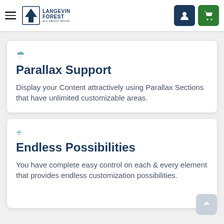Langevin Forest — All About Wood — Navigation header with hamburger menu, logo, user icon, and cart icon
Parallax Support
Display your Content attractively using Parallax Sections that have unlimited customizable areas.
Endless Possibilities
You have complete easy control on each & every element that provides endless customization possibilities.